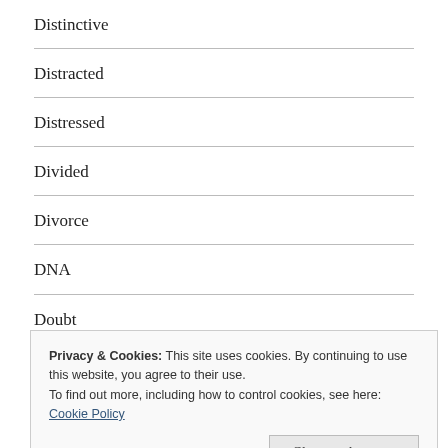Distinctive
Distracted
Distressed
Divided
Divorce
DNA
Doubt
Dread
Duplicity
Privacy & Cookies: This site uses cookies. By continuing to use this website, you agree to their use.
To find out more, including how to control cookies, see here: Cookie Policy
Close and accept